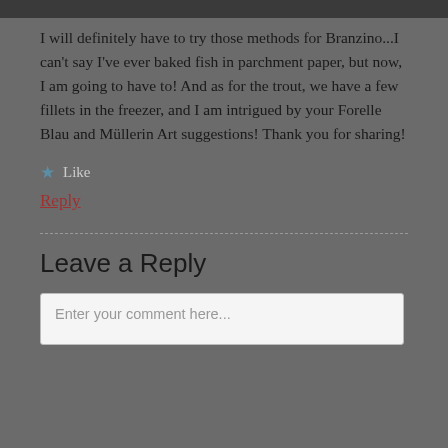I will definitely have to try those methods for Branzino...I can't say I've ever baked fish in parchment paper, but now, I am going to have to! And as for the trout, we have a few fillets in the freezer, and I am intrigued by your Forelle Blau and Müllerin Art suggestions! Thank you for sharing!
★ Like
Reply
Leave a Reply
Enter your comment here...